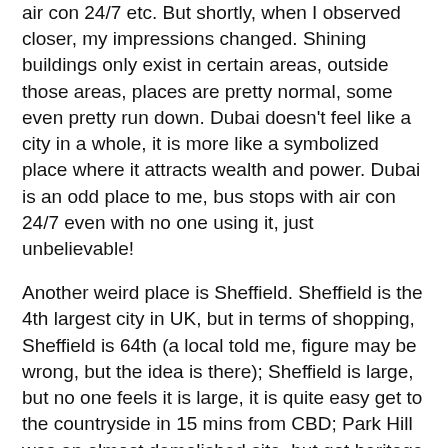air con 24/7 etc. But shortly, when I observed closer, my impressions changed. Shining buildings only exist in certain areas, outside those areas, places are pretty normal, some even pretty run down. Dubai doesn't feel like a city in a whole, it is more like a symbolized place where it attracts wealth and power. Dubai is an odd place to me, bus stops with air con 24/7 even with no one using it, just unbelievable!
Another weird place is Sheffield. Sheffield is the 4th largest city in UK, but in terms of shopping, Sheffield is 64th (a local told me, figure may be wrong, but the idea is there); Sheffield is large, but no one feels it is large, it is quite easy get to the countryside in 15 mins from CBD; Park Hill was an almost demolished site, but got heritage listed, so it stands there and no one wants it; even locals cannot tell where the city centre is, the ring road seems physically outlined to the city centre, but there is no clear focus of city centre; Sheffield is a product of industrialization, but it also ruined because of it.
'You want to shopping, you go to Leeds; you want history, you go to York. Why do people want to go to Sheffield? Sheffield has nothing to offer' said a local resident to me.